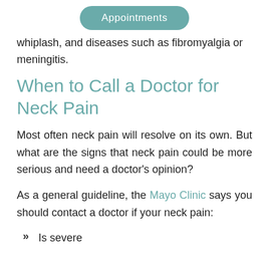Appointments
whiplash, and diseases such as fibromyalgia or meningitis.
When to Call a Doctor for Neck Pain
Most often neck pain will resolve on its own. But what are the signs that neck pain could be more serious and need a doctor's opinion?
As a general guideline, the Mayo Clinic says you should contact a doctor if your neck pain:
Is severe